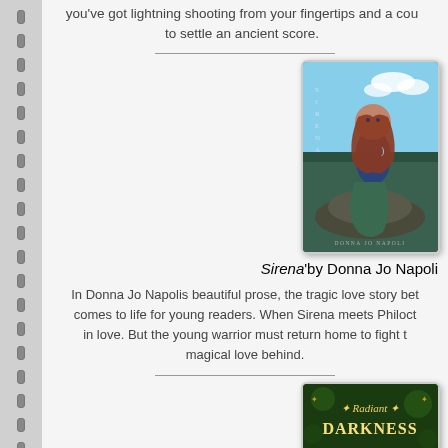you've got lightning shooting from your fingertips and a cou to settle an ancient score.
[Figure (illustration): Book cover of 'Sirena' by Donna Jo Napoli showing a mermaid figure seated on rocks with the sea and sky background, title text vertically along left side, author name at bottom]
Sirena'by Donna Jo Napoli
In Donna Jo Napolis beautiful prose, the tragic love story bet comes to life for young readers. When Sirena meets Philoct in love. But the young warrior must return home to fight t magical love behind.
[Figure (illustration): Book cover of 'Radiant Darkness' with dark green background, gold/yellow decorative text and foliage design]